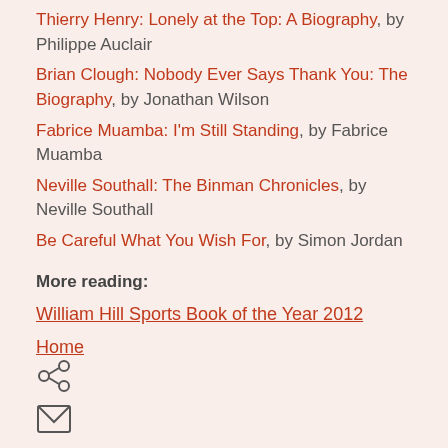Thierry Henry: Lonely at the Top: A Biography, by Philippe Auclair
Brian Clough: Nobody Ever Says Thank You: The Biography, by Jonathan Wilson
Fabrice Muamba: I'm Still Standing, by Fabrice Muamba
Neville Southall: The Binman Chronicles, by Neville Southall
Be Careful What You Wish For, by Simon Jordan
More reading:
William Hill Sports Book of the Year 2012
Home